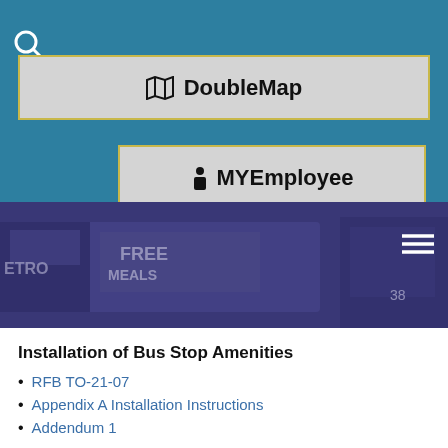[Figure (screenshot): Teal navigation header with DoubleMap and MYEmployee buttons with search icon]
[Figure (photo): Bus photo banner with blue-purple overlay showing a bus with FREE MEALS signage and hamburger menu icon]
Installation of Bus Stop Amenities
RFB TO-21-07
Appendix A Installation Instructions
Addendum 1